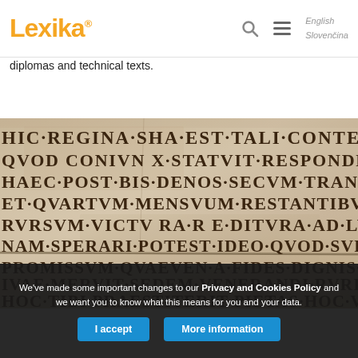[Figure (logo): Lexika orange logo with registered trademark symbol]
diplomas and technical texts.
[Figure (photo): Close-up photograph of an ancient Latin stone inscription with carved Roman capital letters reading: HIC REGINA SHA EST TALI CONTECTA QUOD CONIUN X STATVIT RESPONDENS EIVS HAEC POST BIS DENOS SECVM TRANS SEGER ET QVARTVM MENSVUM RESTANTIBVS OCTO D RVRSVM VICTV RA R E DITVRA AD LVMINA NAM SPERARI POTEST IDEO QVOD SVRGA T IN PROMISSVM QVAEVEN A FIDES DIGNIS QVA H IVAE MERVIT SEDEM VENERANDI RVRIS H HOC TIBI PRAESTITERIT PIETAS HOC VITA...]
We've made some important changes to our Privacy and Cookies Policy and we want you to know what this means for you and your data.